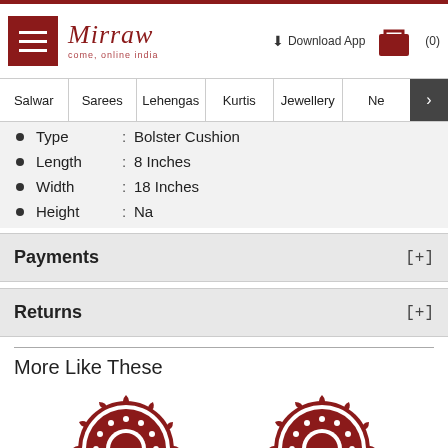Mirraw | Download App | (0)
Salwar | Sarees | Lehengas | Kurtis | Jewellery | Ne >
Type : Bolster Cushion
Length : 8 Inches
Width : 18 Inches
Height : Na
Payments [+]
Returns [+]
More Like These
[Figure (illustration): Two decorative circular medallion/rosette product thumbnail images in dark red/maroon color on white background]